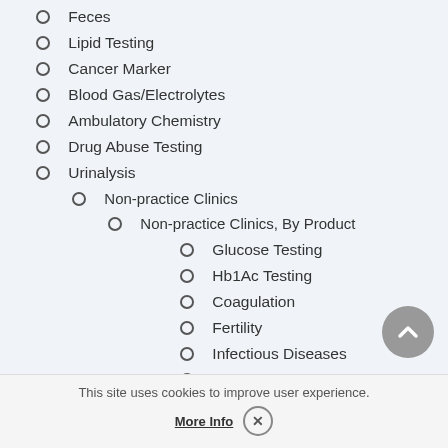Feces
Lipid Testing
Cancer Marker
Blood Gas/Electrolytes
Ambulatory Chemistry
Drug Abuse Testing
Urinalysis
Non-practice Clinics
Non-practice Clinics, By Product
Glucose Testing
Hb1Ac Testing
Coagulation
Fertility
Infectious Diseases
Cardiac Markers
Thyro...
Hema...
Prima...
Decentralized Clinical Chemistry